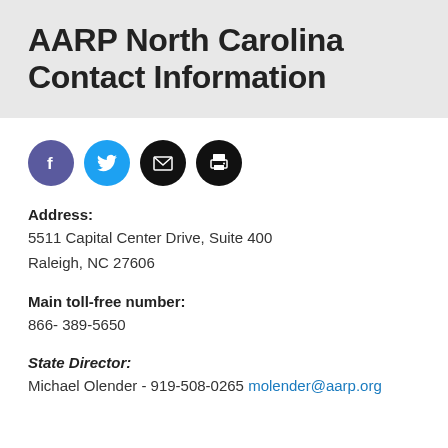AARP North Carolina Contact Information
[Figure (infographic): Four social media / action icon circles: Facebook (purple), Twitter (blue), Email (black), Print (black)]
Address:
5511 Capital Center Drive, Suite 400
Raleigh, NC 27606
Main toll-free number:
866- 389-5650
State Director:
Michael Olender - 919-508-0265 molender@aarp.org